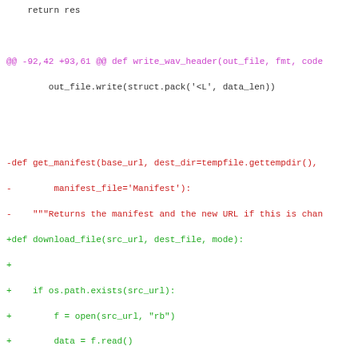[Figure (screenshot): A unified diff view of Python source code showing removed lines (red, prefixed with -) and added lines (green, prefixed with +), with a hunk header in purple. The diff shows replacement of get_manifest function with download_file function.]